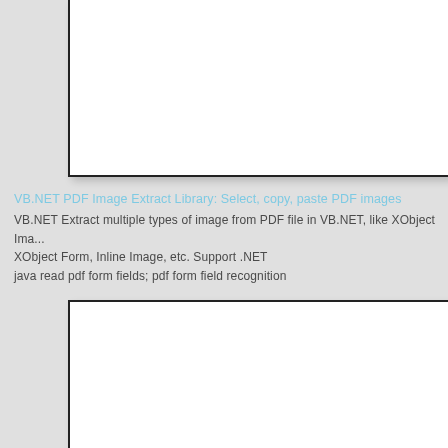[Figure (screenshot): Partial white box/panel visible at top of page, cropped]
VB.NET PDF Image Extract Library: Select, copy, paste PDF images
VB.NET Extract multiple types of image from PDF file in VB.NET, like XObject Image, XObject Form, Inline Image, etc. Support .NET
java read pdf form fields; pdf form field recognition
[Figure (screenshot): Partial white box/panel visible at bottom of page, cropped on right and bottom]